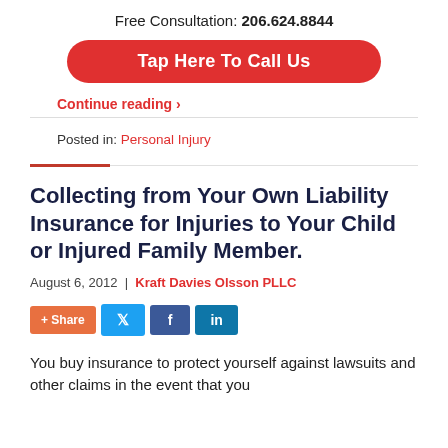Free Consultation: 206.624.8844
[Figure (other): Red rounded button: Tap Here To Call Us]
Continue reading ›
Posted in: Personal Injury
Collecting from Your Own Liability Insurance for Injuries to Your Child or Injured Family Member.
August 6, 2012  |  Kraft Davies Olsson PLLC
[Figure (other): Social share buttons: + Share, Twitter, Facebook, LinkedIn]
You buy insurance to protect yourself against lawsuits and other claims in the event that you